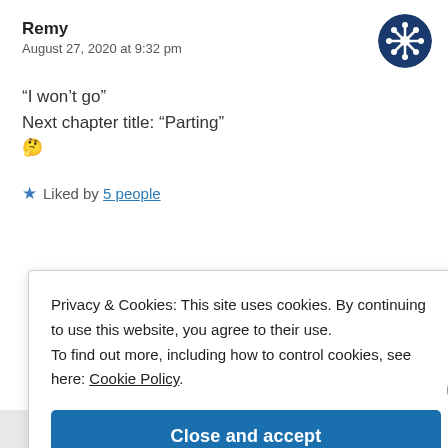Remy
August 27, 2020 at 9:32 pm
“I won’t go”
Next chapter title: “Parting”
🤔
★ Liked by 5 people
Privacy & Cookies: This site uses cookies. By continuing to use this website, you agree to their use.
To find out more, including how to control cookies, see here: Cookie Policy
Close and accept